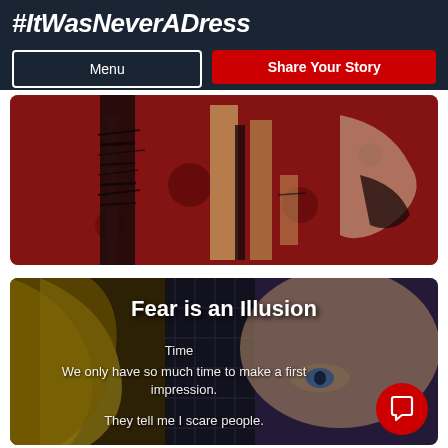#ItWasNeverADress
Menu
Share Your Story
[Figure (illustration): Abstract red and black artwork showing textured figures against a dark red background with scratchy, woodblock-print style marks and patterns]
[Figure (illustration): Mixed media artwork showing a blonde figure and a face with blue eye against a dark overlaid urban background]
Fear is an Illusion
Time
We only have so much time to make a first impression.
They tell me I scare people.